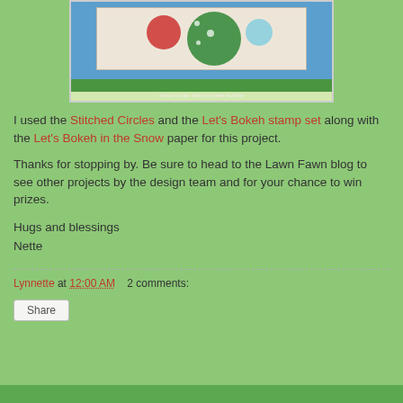[Figure (photo): Craft card image showing green polka-dot circles and ornaments on a blue and white background, with grass/lawn design at bottom. Caption reads: created for lawn fawn by lynnette kauffman]
I used the Stitched Circles and the Let's Bokeh stamp set along with the Let's Bokeh in the Snow paper for this project.
Thanks for stopping by. Be sure to head to the Lawn Fawn blog to see other projects by the design team and for your chance to win prizes.
Hugs and blessings
Nette
Lynnette at 12:00 AM    2 comments:
Share